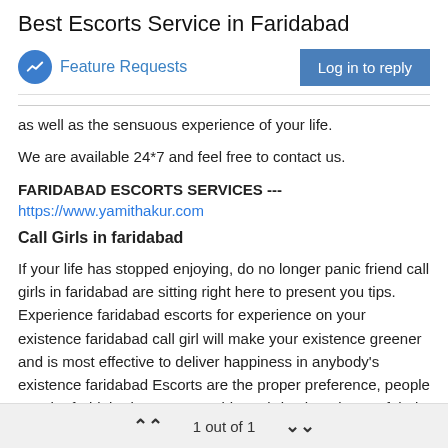Best Escorts Service in Faridabad
Feature Requests
as well as the sensuous experience of your life.
We are available 24*7 and feel free to contact us.
FARIDABAD ESCORTS SERVICES ---
https://www.yamithakur.com
Call Girls in faridabad
If your life has stopped enjoying, do no longer panic friend call girls in faridabad are sitting right here to present you tips. Experience faridabad escorts for experience on your existence faridabad call girl will make your existence greener and is most effective to deliver happiness in anybody's existence faridabad Escorts are the proper preference, people use the faridabad Escorts provider to bring happiness of their lives. Do it your self, it will be proper for you and might make your lifestyles higher if you stay life with our model escorts in faridabad in case you want to come to faridabad
1 out of 1